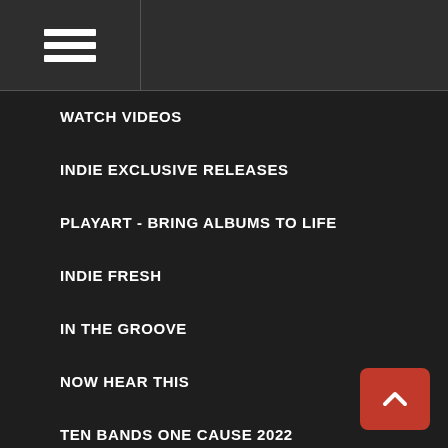WATCH VIDEOS
INDIE EXCLUSIVE RELEASES
PLAYART - BRING ALBUMS TO LIFE
INDIE FRESH
IN THE GROOVE
NOW HEAR THIS
TEN BANDS ONE CAUSE 2022
HOLIDAY MUSIC
RECORD STORE DAY DROPS 2021 - JUNE